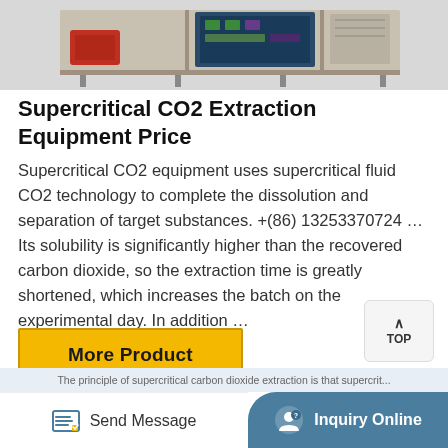[Figure (photo): Supercritical CO2 extraction equipment mounted on metal rack, showing electronic components and tubing]
Supercritical CO2 Extraction Equipment Price
Supercritical CO2 equipment uses supercritical fluid CO2 technology to complete the dissolution and separation of target substances. +(86) 13253370724 ... Its solubility is significantly higher than the recovered carbon dioxide, so the extraction time is greatly shortened, which increases the batch on the experimental day. In addition ...
More Product
The principle of supercritical carbon dioxide extraction is that supercrit...
Send Message
Inquiry Online